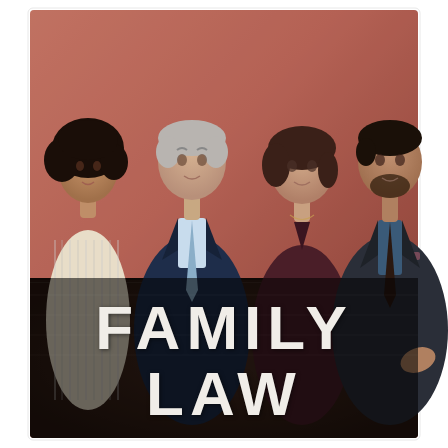[Figure (photo): Promotional photo of four cast members (three men and one woman) standing against a reddish-brown textured wall. From left: a young woman with curly hair wearing a striped blouse; an older man in a navy suit with a light blue tie; a woman in a dark burgundy outfit; a man in a dark suit with a blue shirt. The lower portion shows a dark brown leather-textured surface with the text FAMILY LAW in large white letters.]
FAMILY LAW